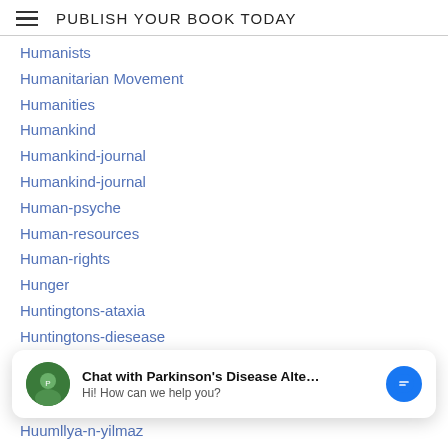PUBLISH YOUR BOOK TODAY
Humanists
Humanitarian Movement
Humanities
Humankind
Humankind-journal
Humankind-journal
Human-psyche
Human-resources
Human-rights
Hunger
Huntingtons-ataxia
Huntingtons-diesease
Hussein Habasch
Huumllya-n-yaerlmaz
Chat with Parkinson's Disease Alte... Hi! How can we help you?
Huumllya-n-yilmaz